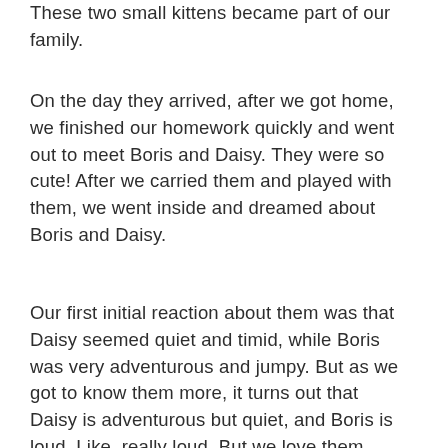These two small kittens became part of our family.
On the day they arrived, after we got home, we finished our homework quickly and went out to meet Boris and Daisy. They were so cute! After we carried them and played with them, we went inside and dreamed about Boris and Daisy.
Our first initial reaction about them was that Daisy seemed quiet and timid, while Boris was very adventurous and jumpy. But as we got to know them more, it turns out that Daisy is adventurous but quiet, and Boris is loud. Like, really loud. But we love them both equally.